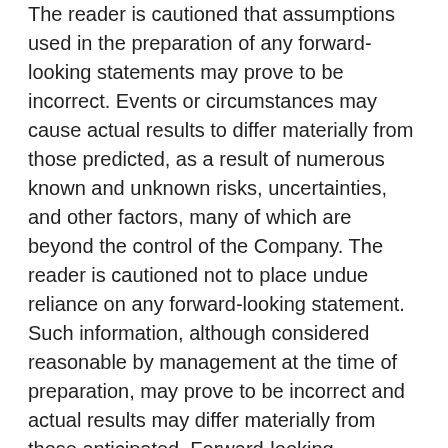The reader is cautioned that assumptions used in the preparation of any forward-looking statements may prove to be incorrect. Events or circumstances may cause actual results to differ materially from those predicted, as a result of numerous known and unknown risks, uncertainties, and other factors, many of which are beyond the control of the Company. The reader is cautioned not to place undue reliance on any forward-looking statement. Such information, although considered reasonable by management at the time of preparation, may prove to be incorrect and actual results may differ materially from those anticipated. Forward-looking statements contained in this news release are expressly qualified by this cautionary statement. Risks and uncertainties about the Company's business are more fully discussed in the Company's disclosure materials, including the short form prospectus filed in connection with the Offering, its Annual Report on Form 10-K filed with the United States Securities and Exchange Commission and the Canadian securities regulators, and other documents filed from the...